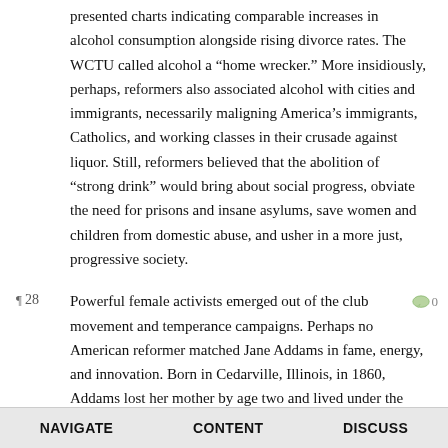presented charts indicating comparable increases in alcohol consumption alongside rising divorce rates. The WCTU called alcohol a “home wrecker.” More insidiously, perhaps, reformers also associated alcohol with cities and immigrants, necessarily maligning America’s immigrants, Catholics, and working classes in their crusade against liquor. Still, reformers believed that the abolition of “strong drink” would bring about social progress, obviate the need for prisons and insane asylums, save women and children from domestic abuse, and usher in a more just, progressive society.
Powerful female activists emerged out of the club movement and temperance campaigns. Perhaps no American reformer matched Jane Addams in fame, energy, and innovation. Born in Cedarville, Illinois, in 1860, Addams lost her mother by age two and lived under the attentive care of her father. At seventeen, she left home to attend Rockford Female Seminary. An idealist, Addams sought the means to make the world a better place. She believed that well-educated women of means, such as herself, lacked practical strategies for engaging everyday reform. After four years at Rockford, Addams embarked on a multiyear “grand tour” of
NAVIGATE   CONTENT   DISCUSS